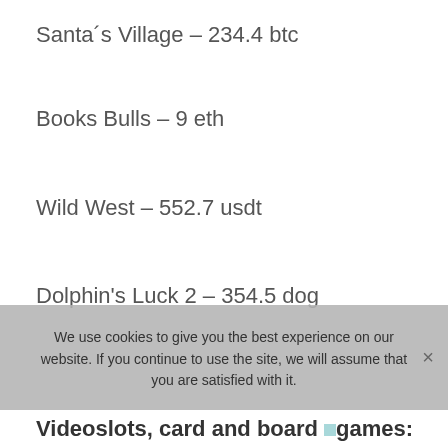Santa´s Village – 234.4 btc
Books Bulls – 9 eth
Wild West – 552.7 usdt
Dolphin's Luck 2 – 354.5 dog
We use cookies to give you the best experience on our website. If you continue to use the site, we will assume that you are satisfied with it.
Videoslots, card and board games: